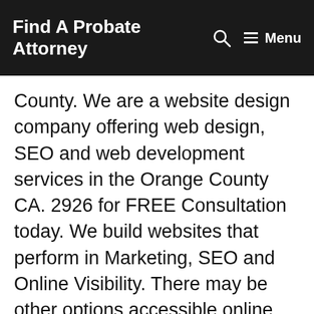Find A Probate Attorney   🔍   ☰ Menu
County. We are a website design company offering web design, SEO and web development services in the Orange County CA. 2926 for FREE Consultation today. We build websites that perform in Marketing, SEO and Online Visibility. There may be other options accessible online, which may be quickly located by putting a relevant phrase into a search engine. SeoOC Online Marketing is SEO Orange County Social Media Marketing is not a sprint. 6 Facts Every Entrepreneur Should Know about Conversion Rate Optimization logo navigation logo Combined Shape logo navigation logo Combined Shape Shape. SeoOC Ultimately, they favor useful resources. SEO is the best marketing